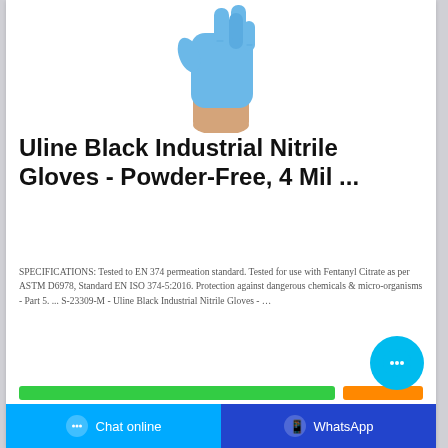[Figure (photo): A hand wearing a blue nitrile glove, shown from below the wrist, against a white background.]
Uline Black Industrial Nitrile Gloves - Powder-Free, 4 Mil ...
SPECIFICATIONS: Tested to EN 374 permeation standard. Tested for use with Fentanyl Citrate as per ASTM D6978, Standard EN ISO 374-5:2016. Protection against dangerous chemicals & micro-organisms - Part 5. ... S-23309-M - Uline Black Industrial Nitrile Gloves - …